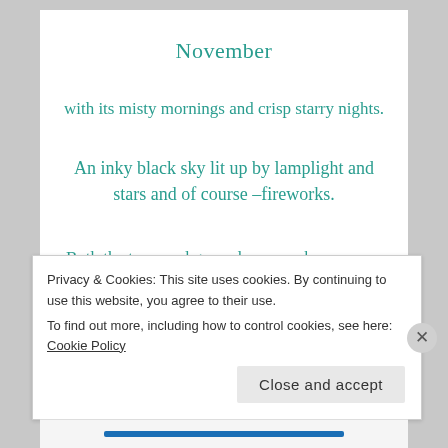November
with its misty mornings and crisp starry nights.
An inky black sky lit up by lamplight and stars and of course –fireworks.
Both the trees and ground are now bare once again as everything settles down for rest.  The leaves that have fallen from the trees crunch and rustle beneath us – as
Privacy & Cookies: This site uses cookies. By continuing to use this website, you agree to their use.
To find out more, including how to control cookies, see here: Cookie Policy
Close and accept